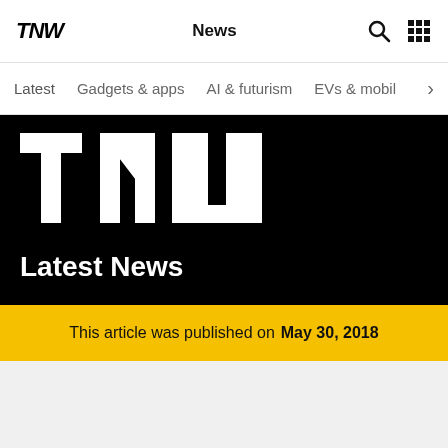TNW  News
Latest  Gadgets & apps  AI & futurism  EVs & mobil
[Figure (logo): TNW large white logo on black background with 'Latest News' text below]
This article was published on May 30, 2018